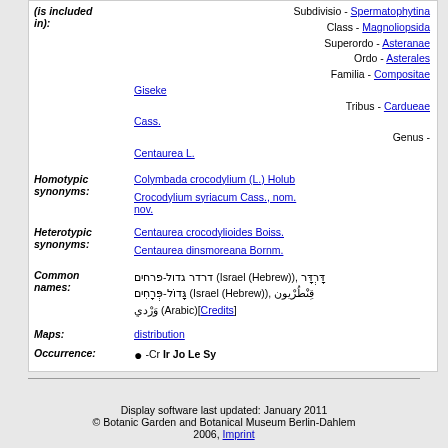| (is included in): | Subdivisio - Spermatophytina
Class - Magnoliopsida
Superordo - Asteranae
Ordo - Asterales
Familia - Compositae Giseke
Tribus - Cardueae Cass.
Genus - Centaurea L. |
| Homotypic synonyms: | Colymbada crocodylium (L.) Holub
Crocodylium syriacum Cass., nom. nov. |
| Heterotypic synonyms: | Centaurea crocodylioides Boiss.
Centaurea dinsmoreana Bornm. |
| Common names: | דרדר גדול-פרחים (Israel (Hebrew)), דָּרְדָּר גָּדוֹל-פְּרָחִים (Israel (Hebrew)), قِنْطُرْيون وَرْدي (Arabic)[Credits] |
| Maps: | distribution |
| Occurrence: | ● -Cr Ir Jo Le Sy |
Display software last updated: January 2011
© Botanic Garden and Botanical Museum Berlin-Dahlem 2006, Imprint